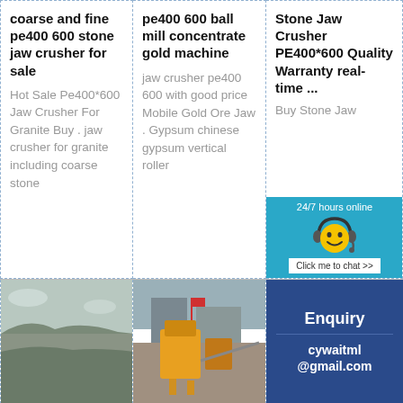coarse and fine pe400 600 stone jaw crusher for sale
Hot Sale Pe400*600 Jaw Crusher For Granite Buy . jaw crusher for granite including coarse stone
pe400 600 ball mill concentrate gold machine
jaw crusher pe400 600 with good price Mobile Gold Ore Jaw . Gypsum chinese gypsum vertical roller
Stone Jaw Crusher PE400*600 Quality Warranty real-time ...
Buy Stone Jaw
[Figure (infographic): 24/7 hours online chat widget with smiley face wearing headset and 'Click me to chat >>' button on cyan background]
[Figure (photo): Aerial/landscape photo of industrial quarry or construction site]
[Figure (photo): Photo of crushing/mining equipment at construction site]
Enquiry
cywaitml@gmail.com